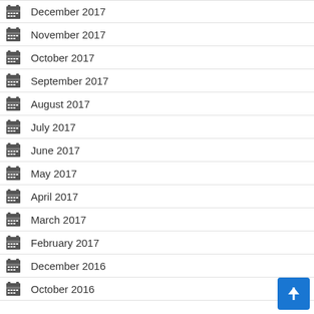December 2017
November 2017
October 2017
September 2017
August 2017
July 2017
June 2017
May 2017
April 2017
March 2017
February 2017
December 2016
October 2016